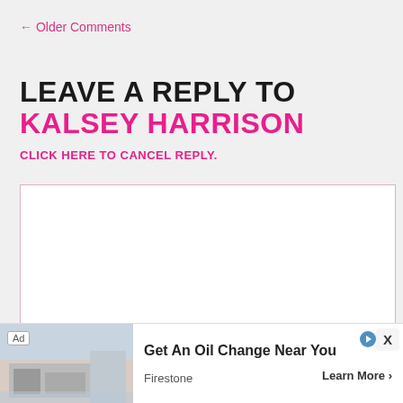← Older Comments
LEAVE A REPLY TO KALSEY HARRISON
CLICK HERE TO CANCEL REPLY.
[Figure (screenshot): Comment text area input box, empty, with pink border]
Name (required)
Email (will not be published) (required)
[Figure (screenshot): Ad banner: Get An Oil Change Near You - Firestone - Learn More]